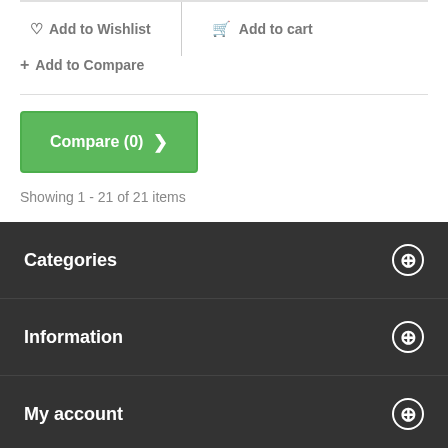Add to Wishlist
Add to cart
Add to Compare
Compare (0) >
Showing 1 - 21 of 21 items
Categories
Information
My account